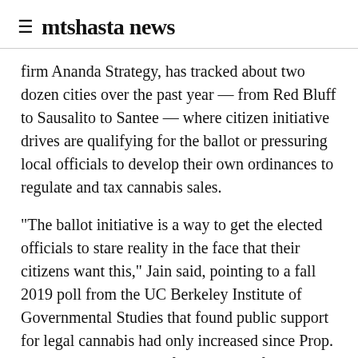≡  mtshasta news
firm Ananda Strategy, has tracked about two dozen cities over the past year — from Red Bluff to Sausalito to Santee — where citizen initiative drives are qualifying for the ballot or pressuring local officials to develop their own ordinances to regulate and tax cannabis sales.
“The ballot initiative is a way to get the elected officials to stare reality in the face that their citizens want this,” Jain said, pointing to a fall 2019 poll from the UC Berkeley Institute of Governmental Studies that found public support for legal cannabis had only increased since Prop. 64. Nearly two-thirds of respondents favored allowing commercial dispensaries in their